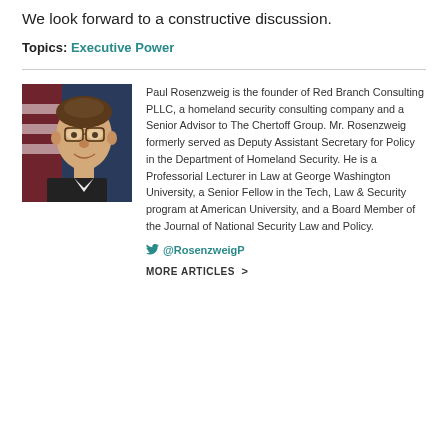We look forward to a constructive discussion.
Topics: Executive Power
Paul Rosenzweig is the founder of Red Branch Consulting PLLC, a homeland security consulting company and a Senior Advisor to The Chertoff Group. Mr. Rosenzweig formerly served as Deputy Assistant Secretary for Policy in the Department of Homeland Security. He is a Professorial Lecturer in Law at George Washington University, a Senior Fellow in the Tech, Law & Security program at American University, and a Board Member of the Journal of National Security Law and Policy.
@RosenzweigP
MORE ARTICLES >